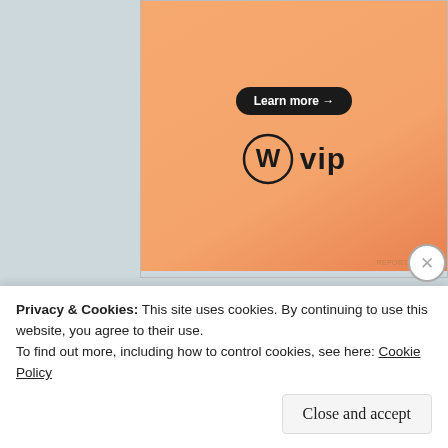[Figure (logo): WordPress VIP advertisement with orange gradient background, 'Learn more →' button, and WordPress W logo with 'vip' text]
RECENT POSTS
Rhubarb Crumble Cocktails
Privacy & Cookies: This site uses cookies. By continuing to use this website, you agree to their use.
To find out more, including how to control cookies, see here: Cookie Policy